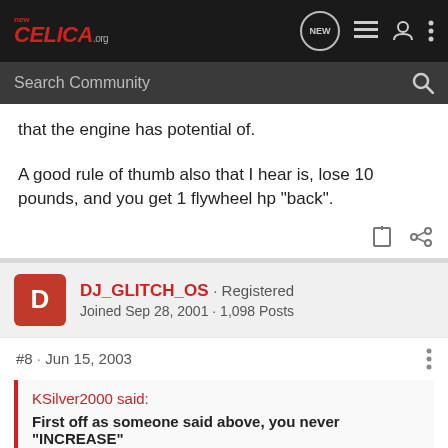NEW CELICA.org — navigation bar with search
that the engine has potential of.
A good rule of thumb also that I hear is, lose 10 pounds, and you get 1 flywheel hp "back".
DJ_GLITCH_OS · Registered
Joined Sep 28, 2001 · 1,098 Posts
#8 · Jun 15, 2003
KSilver2000 said:
First off as someone said above, you never "INCREASE"